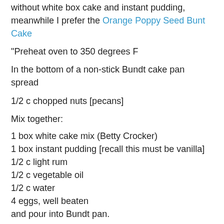without white box cake and instant pudding, meanwhile I prefer the Orange Poppy Seed Bunt Cake
"Preheat oven to 350 degrees F
In the bottom of a non-stick Bundt cake pan spread
1/2 c chopped nuts [pecans]
Mix together:
1 box white cake mix (Betty Crocker)
1 box instant pudding [recall this must be vanilla]
1/2 c light rum
1/2 c vegetable oil
1/2 c water
4 eggs, well beaten
and pour into Bundt pan.
Bake for 55 minutes in preheated 350 degree oven [Mom's notes say 35-45 minutes]
While cake is cooking, make icing by combining in a small